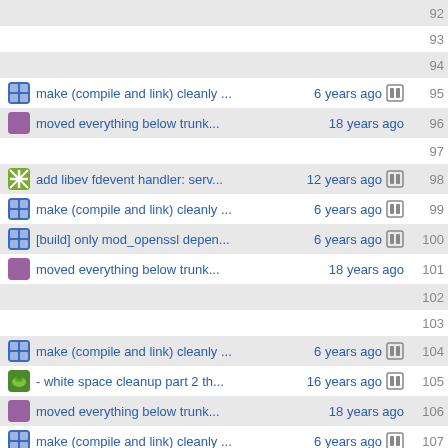92
93
94
make (compile and link) cleanly ... 6 years ago 95
moved everything below trunk... 18 years ago 96
97
add libev fdevent handler: serv... 12 years ago 98
make (compile and link) cleanly ... 6 years ago 99
[build] only mod_openssl depen... 6 years ago 100
moved everything below trunk... 18 years ago 101
102
103
make (compile and link) cleanly ... 6 years ago 104
- white space cleanup part 2 th... 16 years ago 105
moved everything below trunk... 18 years ago 106
make (compile and link) cleanly ... 6 years ago 107
moved everything below trunk... 18 years ago 108
added mod_flv_streaming.c for... 17 years ago 109
- white space cleanup part 2 th... 16 years ago 110
make (compile and link) cleanly ... 6 years ago 111
added mod_flv_streaming.c for... 17 years ago 112